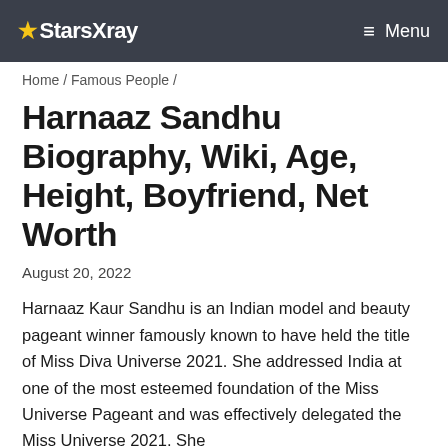★StarsXray   ≡ Menu
Home / Famous People /
Harnaaz Sandhu Biography, Wiki, Age, Height, Boyfriend, Net Worth
August 20, 2022
Harnaaz Kaur Sandhu is an Indian model and beauty pageant winner famously known to have held the title of Miss Diva Universe 2021. She addressed India at one of the most esteemed foundation of the Miss Universe Pageant and was effectively delegated the Miss Universe 2021. She